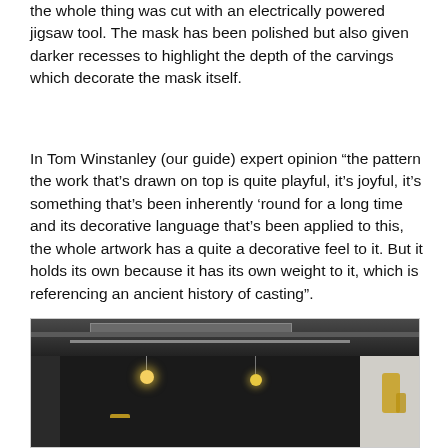the whole thing was cut with an electrically powered jigsaw tool. The mask has been polished but also given darker recesses to highlight the depth of the carvings which decorate the mask itself.
In Tom Winstanley (our guide) expert opinion “the pattern the work that’s drawn on top is quite playful, it’s joyful, it’s something that’s been inherently ‘round for a long time and its decorative language that’s been applied to this, the whole artwork has a quite a decorative feel to it. But it holds its own because it has its own weight to it, which is referencing an ancient history of casting”.
[Figure (photo): Interior photo showing a dark room or gallery space with ceiling pipes/ducts, hanging pendant lights with warm golden glow, dark wall panels, and golden ornamental objects on the right side. The right portion of the image shows a lighter wall.]